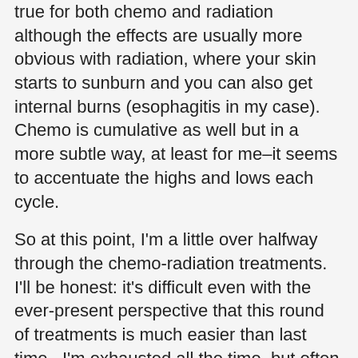true for both chemo and radiation although the effects are usually more obvious with radiation, where your skin starts to sunburn and you can also get internal burns (esophagitis in my case). Chemo is cumulative as well but in a more subtle way, at least for me–it seems to accentuate the highs and lows each cycle.
So at this point, I'm a little over halfway through the chemo-radiation treatments. I'll be honest: it's difficult even with the ever-present perspective that this round of treatments is much easier than last time. I'm exhausted all the time, but often can't sleep because the various medications make me feel nervous and wired. My stomach is touchy at best, and I have trouble eating enough calories to keep my